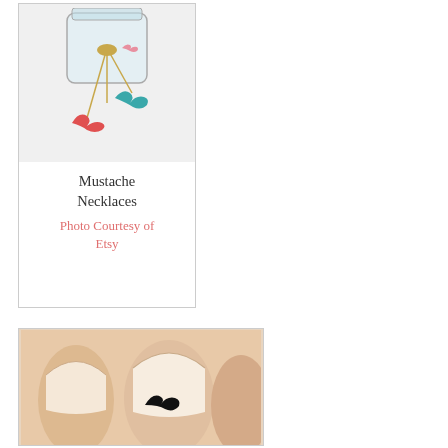[Figure (photo): Photo of mustache necklaces on gold chains — red/pink and teal mustache pendants in a glass jar]
Mustache Necklaces
Photo Courtesy of Etsy
[Figure (photo): Close-up photo of a fingernail decorated with a black mustache design in French manicure style]